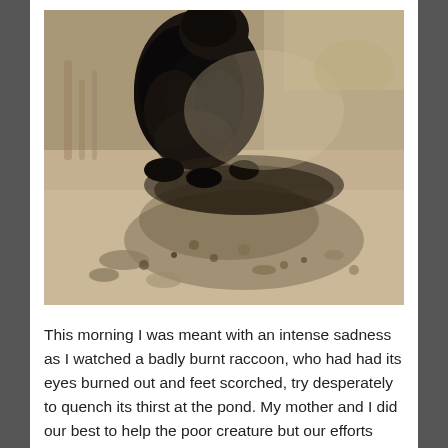[Figure (photo): A black and white photograph of a badly burnt raccoon on sandy/rocky ground. The animal appears severely injured, with dark charred fur, sitting on dry cracked earth with debris around it.]
This morning I was meant with an intense sadness as I watched a badly burnt raccoon, who had had its eyes burned out and feet scorched, try desperately to quench its thirst at the pond. My mother and I did our best to help the poor creature but our efforts were futile as it ran from us, afraid